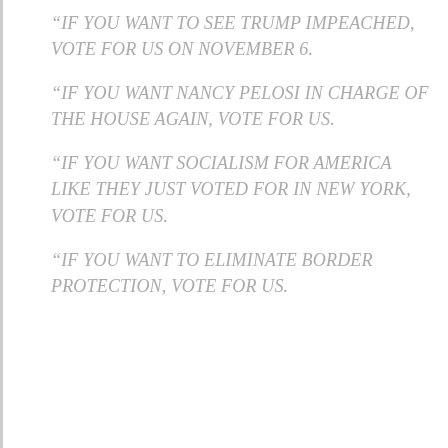“IF YOU WANT TO SEE TRUMP IMPEACHED, VOTE FOR US ON NOVEMBER 6.
“IF YOU WANT NANCY PELOSI IN CHARGE OF THE HOUSE AGAIN, VOTE FOR US.
“IF YOU WANT SOCIALISM FOR AMERICA LIKE THEY JUST VOTED FOR IN NEW YORK, VOTE FOR US.
“IF YOU WANT TO ELIMINATE BORDER PROTECTION, VOTE FOR US.